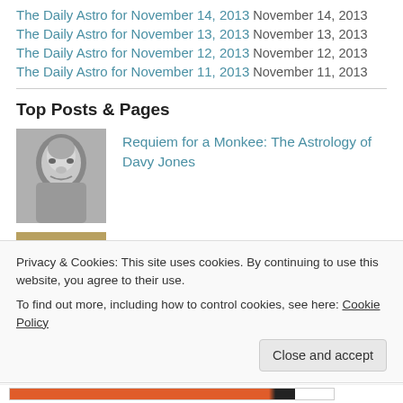The Daily Astro for November 14, 2013  November 14, 2013
The Daily Astro for November 13, 2013  November 13, 2013
The Daily Astro for November 12, 2013  November 12, 2013
The Daily Astro for November 11, 2013  November 11, 2013
Top Posts & Pages
[Figure (photo): Black and white photo of a young man (Davy Jones)]
Requiem for a Monkee: The Astrology of Davy Jones
[Figure (photo): Partial thumbnail image]
The Daily Astro for March 19, 2012
Privacy & Cookies: This site uses cookies. By continuing to use this website, you agree to their use.
To find out more, including how to control cookies, see here: Cookie Policy
Close and accept